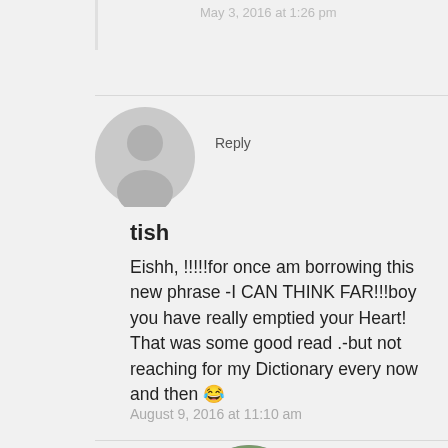May 3, 2016 at 1:26 pm
Reply
tish
Eishh, !!!!!for once am borrowing this new phrase -I CAN THINK FAR!!!boy you have really emptied your Heart! That was some good read .-but not reaching for my Dictionary every now and then 😂
August 9, 2016 at 11:10 am